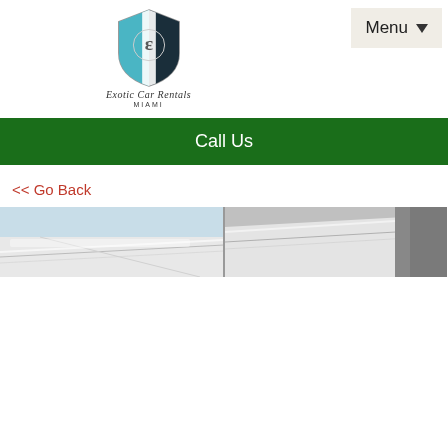[Figure (logo): Exotic Car Rentals Miami logo - shield emblem with script text and MIAMI below]
Menu
Call Us
<< Go Back
[Figure (photo): Two side-by-side photos of exotic car exterior panels/body lines in white/silver]